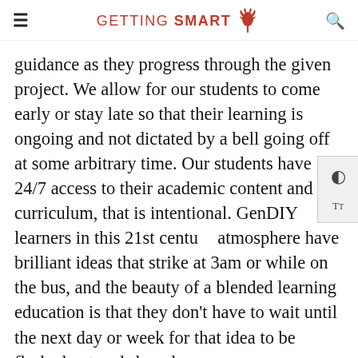GETTING SMART
guidance as they progress through the given project. We allow for our students to come early or stay late so that their learning is ongoing and not dictated by a bell going off at some arbitrary time. Our students have 24/7 access to their academic content and our curriculum, that is intentional. GenDIY learners in this 21st century atmosphere have brilliant ideas that strike at 3am or while on the bus, and the beauty of a blended learning education is that they don't have to wait until the next day or week for that idea to be fleshed out and shared.
The first step to successfully implementing any parts of this model is to bring it all back to